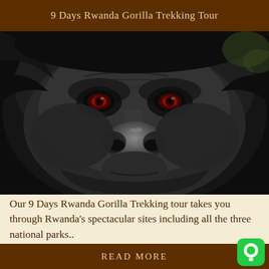9 Days Rwanda Gorilla Trekking Tour
[Figure (photo): Close-up portrait of a mountain gorilla face with dark fur, wrinkled skin, and reddish-orange eyes, looking directly at the camera]
Our 9 Days Rwanda Gorilla Trekking tour takes you through Rwanda's spectacular sites including all the three national parks..
READ MORE